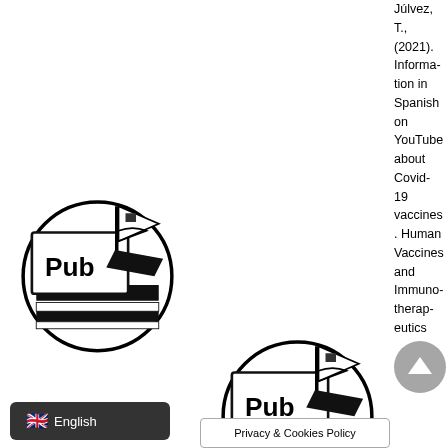[Figure (logo): PubMed-style publication logo with book and flag, black and white, left column]
[Figure (logo): PubMed-style publication logo with book and flag, black and white, middle column]
Júlvez, T., (2021). Information in Spanish on YouTube about Covid-19 vaccines. Human Vaccines and Immunotherapeutics
English
Privacy & Cookies Policy